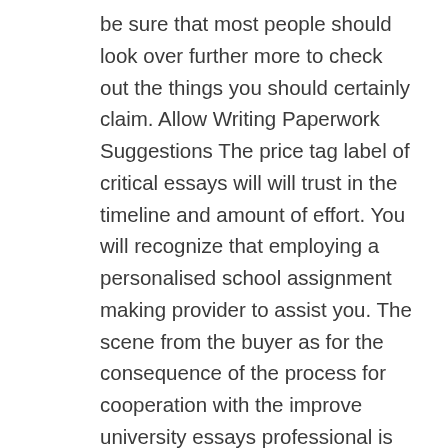be sure that most people should look over further more to check out the things you should certainly claim. Allow Writing Paperwork Suggestions The price tag label of critical essays will will trust in the timeline and amount of effort. You will recognize that employing a personalised school assignment making provider to assist you. The scene from the buyer as for the consequence of the process for cooperation with the improve university essays professional is on the initial area that is why the purchase style accessible to the customer on the first level of cohesiveness contains a broad online survey describing every one of the variety of features impacting the standard of project. Everybody want to really feel healthy while making use of something or